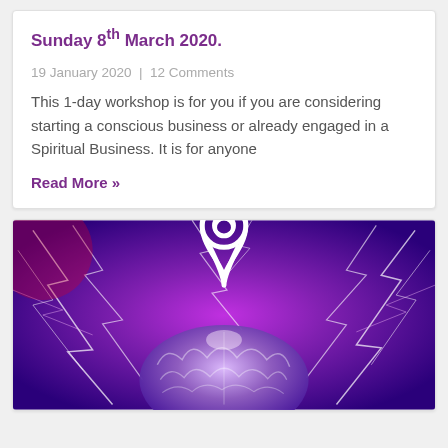Sunday 8th March 2020.
19 January 2020 | 12 Comments
This 1-day workshop is for you if you are considering starting a conscious business or already engaged in a Spiritual Business. It is for anyone
Read More »
[Figure (illustration): A stylized brain illustration with a purple and pink electric lightning background and a white map pin / location marker icon above the brain center.]